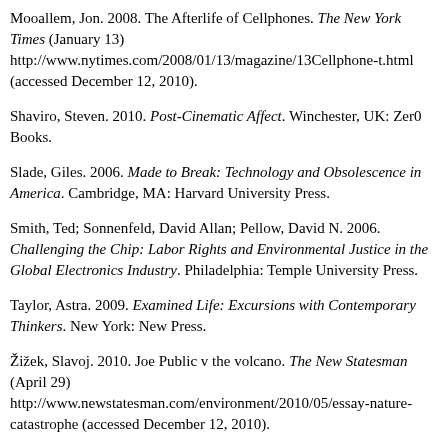Mooallem, Jon. 2008. The Afterlife of Cellphones. The New York Times (January 13) http://www.nytimes.com/2008/01/13/magazine/13Cellphone-t.html (accessed December 12, 2010).
Shaviro, Steven. 2010. Post-Cinematic Affect. Winchester, UK: Zer0 Books.
Slade, Giles. 2006. Made to Break: Technology and Obsolescence in America. Cambridge, MA: Harvard University Press.
Smith, Ted; Sonnenfeld, David Allan; Pellow, David N. 2006. Challenging the Chip: Labor Rights and Environmental Justice in the Global Electronics Industry. Philadelphia: Temple University Press.
Taylor, Astra. 2009. Examined Life: Excursions with Contemporary Thinkers. New York: New Press.
Žižek, Slavoj. 2010. Joe Public v the volcano. The New Statesman (April 29) http://www.newstatesman.com/environment/2010/05/essay-nature-catastrophe (accessed December 12, 2010).
Retrieved from